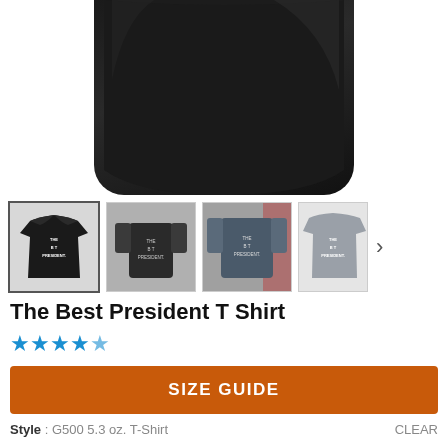[Figure (photo): Close-up of a black t-shirt on a white background, showing the lower body/torso portion of the shirt]
[Figure (photo): Four thumbnail images of The Best President T Shirt in different views and colors (black, dark, navy, gray), with a right arrow for carousel navigation]
The Best President T Shirt
[Figure (other): 4.5 out of 5 stars rating shown as blue star icons]
SIZE GUIDE
Style : G500 5.3 oz. T-Shirt
CLEAR